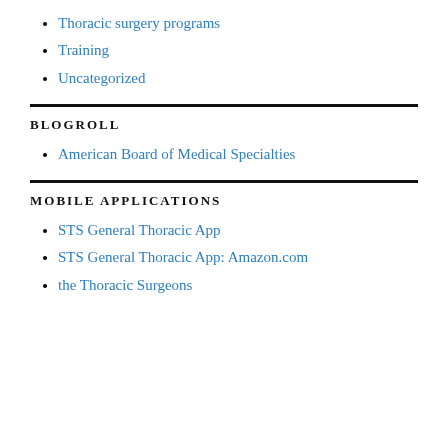Thoracic surgery programs
Training
Uncategorized
BLOGROLL
American Board of Medical Specialties
MOBILE APPLICATIONS
STS General Thoracic App
STS General Thoracic App: Amazon.com
the Thoracic Surgeons